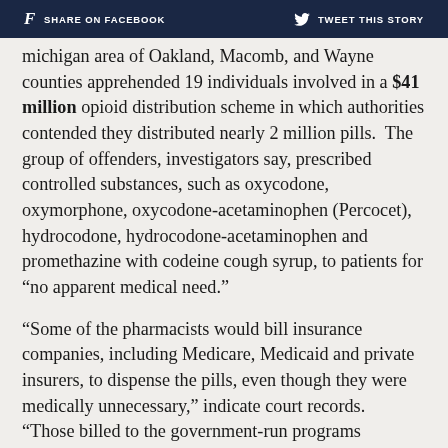SHARE ON FACEBOOK   TWEET THIS STORY
Michigan area of Oakland, Macomb, and Wayne counties apprehended 19 individuals involved in a $41 million opioid distribution scheme in which authorities contended they distributed nearly 2 million pills. The group of offenders, investigators say, prescribed controlled substances, such as oxycodone, oxymorphone, oxycodone-acetaminophen (Percocet), hydrocodone, hydrocodone-acetaminophen and promethazine with codeine cough syrup, to patients for “no apparent medical need.”
“Some of the pharmacists would bill insurance companies, including Medicare, Medicaid and private insurers, to dispense the pills, even though they were medically unnecessary,” indicate court records. “Those billed to the government-run programs Medicare and Medicaid exceeded $146,000. The pharmacists would also accept cash from recruiters for filling and dispensing medicine.”